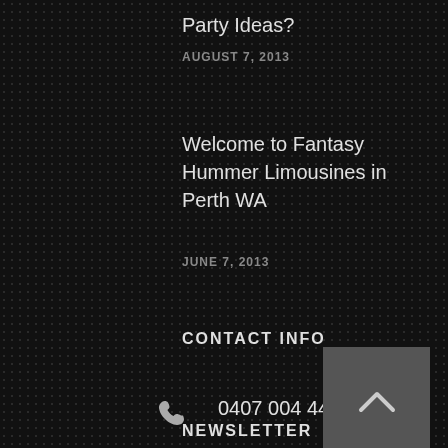Party Ideas?
AUGUST 7, 2013
Welcome to Fantasy Hummer Limousines in Perth WA
JUNE 7, 2013
CONTACT INFO
0407 004 445
NEWSLETTER